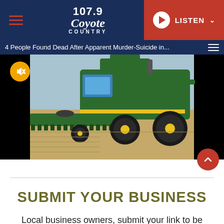107.9 Coyote Country — LISTEN
[Figure (screenshot): Video player showing a green John Deere combine harvester working in a field. Video title bar reads: '4 People Found Dead After Apparent Murder-Suicide in...' A mute icon (yellow circle with muted speaker) is visible in the top-left of the video.]
SUBMIT YOUR BUSINESS
Local business owners, submit your link to be added to our list.